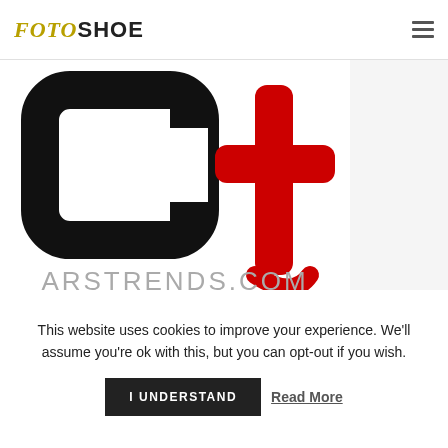FOTOSHOE (logo) + hamburger menu
[Figure (logo): ARS Trends logo: stylized 'ct' letters, left part black rounded rectangle, right part red tall letter t shape, with text ARSTRENDS.COM below in grey]
This website uses cookies to improve your experience. We'll assume you're ok with this, but you can opt-out if you wish.
I UNDERSTAND   Read More